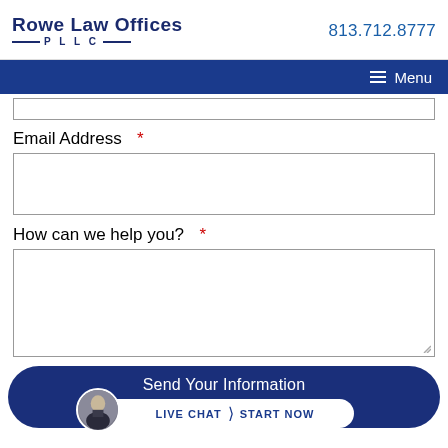Rowe Law Offices PLLC | 813.712.8777
≡ Menu
Email Address *
How can we help you? *
Send Your Information
LIVE CHAT › START NOW